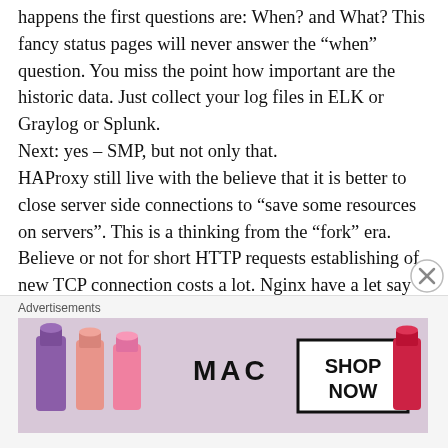happens the first questions are: When? and What? This fancy status pages will never answer the “when” question. You miss the point how important are the historic data. Just collect your log files in ELK or Graylog or Splunk.
Next: yes – SMP, but not only that.
HAProxy still live with the believe that it is better to close server side connections to “save some resources on servers”. This is a thinking from the “fork” era. Believe or not for short HTTP requests establishing of new TCP connection costs a lot. Nginx have a let say “work around” and can have something that I name “server pooling”.
HAP... this is TODO list in ... 2018 ...
Advertisements
[Figure (photo): MAC cosmetics advertisement banner showing lipsticks in purple, peach, and red/pink colors alongside the MAC logo and a 'SHOP NOW' button box]